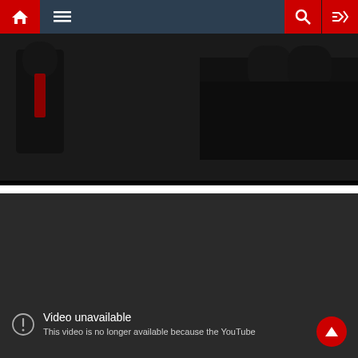[Figure (screenshot): Navigation bar with home icon (red), hamburger menu (dark blue), search icon (red), shuffle icon (red)]
[Figure (screenshot): Video player 1 showing a darkened thumbnail of soldiers/military imagery with playback controls bar: play button, progress scrubber, time display 00:00, volume control with red fill, settings gear, external link icon, fullscreen icon]
[Figure (screenshot): Video player 2 showing a dark/black screen for an unavailable YouTube video]
Video unavailable
This video is no longer available because the YouTube